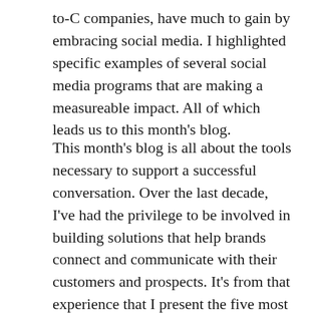to-C companies, have much to gain by embracing social media. I highlighted specific examples of several social media programs that are making a measureable impact. All of which leads us to this month's blog.
This month's blog is all about the tools necessary to support a successful conversation. Over the last decade, I've had the privilege to be involved in building solutions that help brands connect and communicate with their customers and prospects. It's from that experience that I present the five most essential tools in creating and sustaining a successful conversation with customers and prospects.